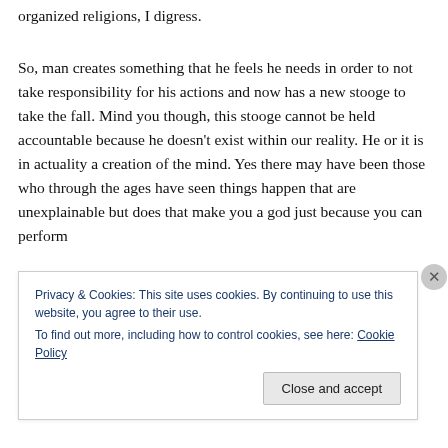organized religions, I digress.
So, man creates something that he feels he needs in order to not take responsibility for his actions and now has a new stooge to take the fall. Mind you though, this stooge cannot be held accountable because he doesn't exist within our reality. He or it is in actuality a creation of the mind. Yes there may have been those who through the ages have seen things happen that are unexplainable but does that make you a god just because you can perform
Privacy & Cookies: This site uses cookies. By continuing to use this website, you agree to their use.
To find out more, including how to control cookies, see here: Cookie Policy